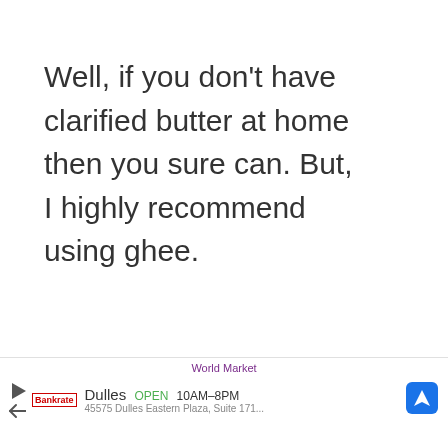Well, if you don't have clarified butter at home then you sure can. But, I highly recommend using ghee.
[Figure (screenshot): UI elements: upvote button (chevron up) with count 37, heart/bookmark button, and purple search/magnify FAB button on the right side]
[Figure (screenshot): Ad banner at bottom: World Market ad showing Dulles store, OPEN 10AM-8PM, with address 45575 Dulles Eastern Plaza Suite 171, navigation icon]